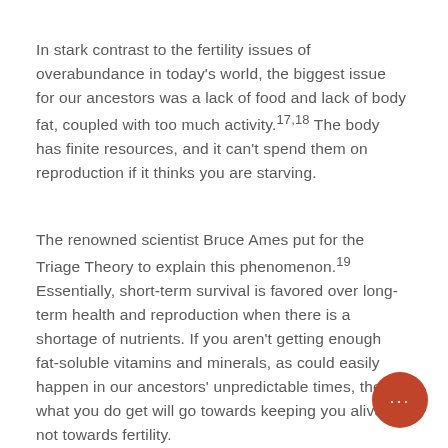In stark contrast to the fertility issues of overabundance in today's world, the biggest issue for our ancestors was a lack of food and lack of body fat, coupled with too much activity.17,18 The body has finite resources, and it can't spend them on reproduction if it thinks you are starving.
The renowned scientist Bruce Ames put for the Triage Theory to explain this phenomenon.19 Essentially, short-term survival is favored over long-term health and reproduction when there is a shortage of nutrients. If you aren't getting enough fat-soluble vitamins and minerals, as could easily happen in our ancestors' unpredictable times, then what you do get will go towards keeping you alive, not towards fertility.